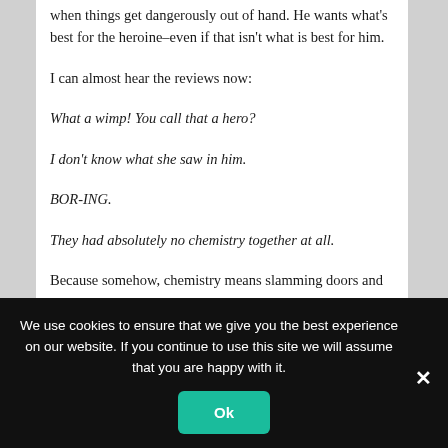when things get dangerously out of hand. He wants what's best for the heroine–even if that isn't what is best for him.
I can almost hear the reviews now:
What a wimp! You call that a hero?
I don't know what she saw in him.
BOR-ING.
They had absolutely no chemistry together at all.
Because somehow, chemistry means slamming doors and broken whiskey bottles. Apparently it means hiding your
We use cookies to ensure that we give you the best experience on our website. If you continue to use this site we will assume that you are happy with it.